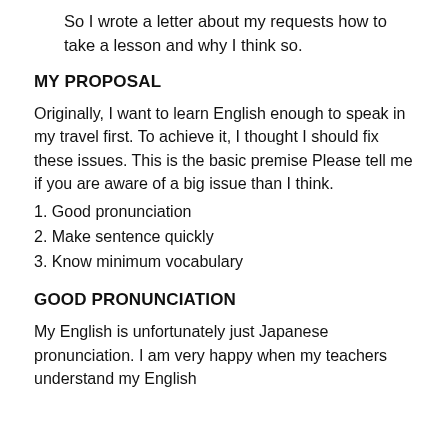So I wrote a letter about my requests how to take a lesson and why I think so.
MY PROPOSAL
Originally, I want to learn English enough to speak in my travel first. To achieve it, I thought I should fix these issues. This is the basic premise Please tell me if you are aware of a big issue than I think.
1. Good pronunciation
2. Make sentence quickly
3. Know minimum vocabulary
GOOD PRONUNCIATION
My English is unfortunately just Japanese pronunciation. I am very happy when my teachers understand my English